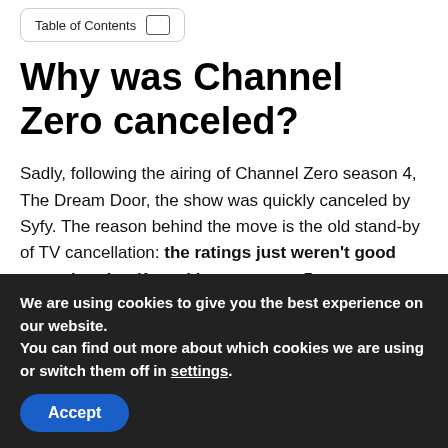Table of Contents
Why was Channel Zero canceled?
Sadly, following the airing of Channel Zero season 4, The Dream Door, the show was quickly canceled by Syfy. The reason behind the move is the old stand-by of TV cancellation: the ratings just weren't good enough to justify making a season 5.
Did Channel Zero...
We are using cookies to give you the best experience on our website.
You can find out more about which cookies we are using or switch them off in settings.
Accept